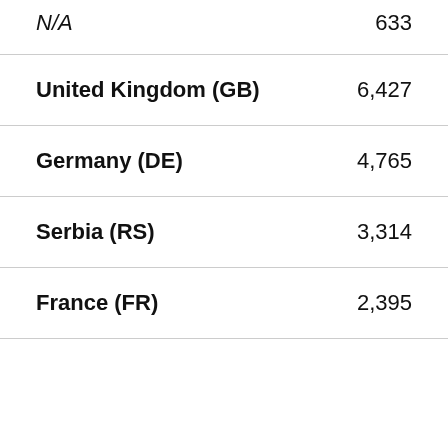| N/A | 633 |
| United Kingdom (GB) | 6,427 |
| Germany (DE) | 4,765 |
| Serbia (RS) | 3,314 |
| France (FR) | 2,395 |